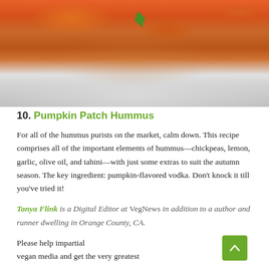[Figure (photo): Close-up photo of Pumpkin Patch Hummus served in a white bowl, showing orange-colored hummus with a green herb garnish, resting on a gray ceramic dish.]
10. Pumpkin Patch Hummus
For all of the hummus purists on the market, calm down. This recipe comprises all of the important elements of hummus—chickpeas, lemon, garlic, olive oil, and tahini—with just some extras to suit the autumn season. The key ingredient: pumpkin-flavored vodka. Don't knock it till you've tried it!
Tanya Flink is a Digital Editor at VegNews in addition to a author and runner dwelling in Orange County, CA.
Please help impartial vegan media and get the very greatest